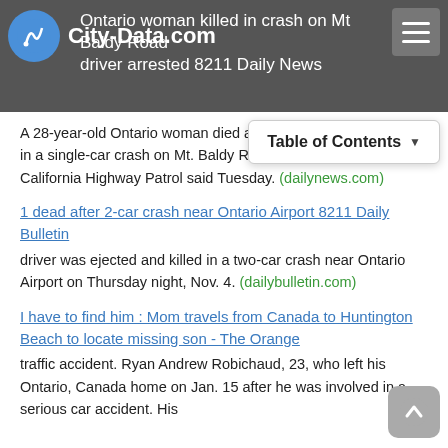Ontario woman killed in crash on Mt Baldy Road driver arrested 8211 Daily News
A 28-year-old Ontario woman died and two others were injured in a single-car crash on Mt. Baldy Road above Claremont, the California Highway Patrol said Tuesday. (dailynews.com)
1 dead after 2-car crash near Ontario Airport 8211 Daily Bulletin
driver was ejected and killed in a two-car crash near Ontario Airport on Thursday night, Nov. 4. (dailybulletin.com)
I have to find him : Mom travels from Canada to Huntington Beach to locate missing son - The Orange
traffic accident. Ryan Andrew Robichaud, 23, who left his Ontario, Canada home on Jan. 15 after he was involved in a serious car accident. His